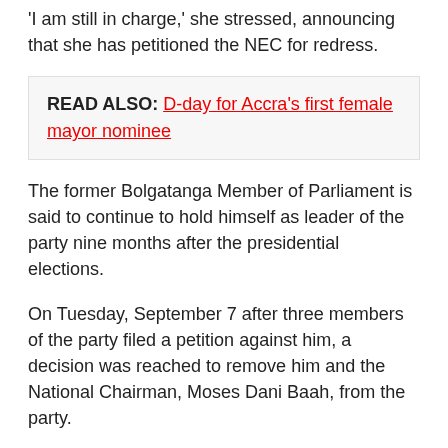'I am still in charge,' she stressed, announcing that she has petitioned the NEC for redress.
READ ALSO: D-day for Accra's first female mayor nominee
The former Bolgatanga Member of Parliament is said to continue to hold himself as leader of the party nine months after the presidential elections.
On Tuesday, September 7 after three members of the party filed a petition against him, a decision was reached to remove him and the National Chairman, Moses Dani Baah, from the party.
PNC 'sacks' Apasera, Dani Baah